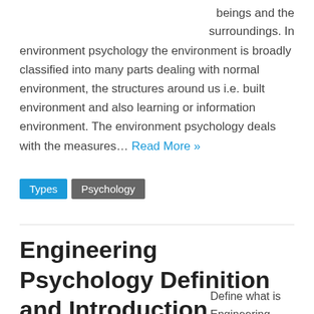beings and the surroundings. In environment psychology the environment is broadly classified into many parts dealing with normal environment, the structures around us i.e. built environment and also learning or information environment. The environment psychology deals with the measures… Read More »
Types
Psychology
Engineering Psychology Definition and Introduction
Define what is Engineering Psychology? Engineering psychology is the